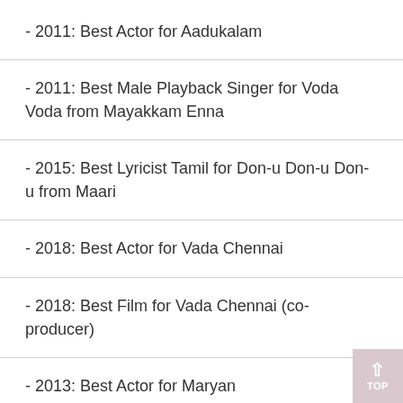- 2011: Best Actor for Aadukalam
- 2011: Best Male Playback Singer for Voda Voda from Mayakkam Enna
- 2015: Best Lyricist Tamil for Don-u Don-u Don-u from Maari
- 2018: Best Actor for Vada Chennai
- 2018: Best Film for Vada Chennai (co-producer)
- 2013: Best Actor for Maryan